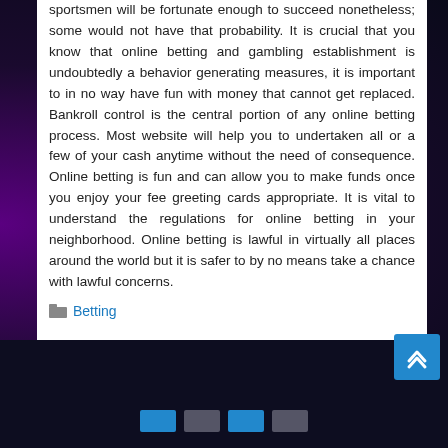sportsmen will be fortunate enough to succeed nonetheless; some would not have that probability. It is crucial that you know that online betting and gambling establishment is undoubtedly a behavior generating measures, it is important to in no way have fun with money that cannot get replaced. Bankroll control is the central portion of any online betting process. Most website will help you to undertaken all or a few of your cash anytime without the need of consequence. Online betting is fun and can allow you to make funds once you enjoy your fee greeting cards appropriate. It is vital to understand the regulations for online betting in your neighborhood. Online betting is lawful in virtually all places around the world but it is safer to by no means take a chance with lawful concerns.
Betting